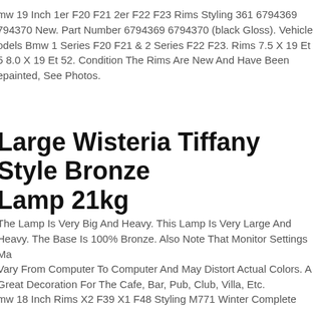mw 19 Inch 1er F20 F21 2er F22 F23 Rims Styling 361 6794369 794370 New. Part Number 6794369 6794370 (black Gloss). Vehicle odels Bmw 1 Series F20 F21 & 2 Series F22 F23. Rims 7.5 X 19 Et 5 8.0 X 19 Et 52. Condition The Rims Are New And Have Been epainted, See Photos.
Large Wisteria Tiffany Style Bronze Lamp 21kg
The Lamp Is Very Big And Heavy. This Lamp Is Very Large And Heavy. The Base Is 100% Bronze. Also Note That Monitor Settings May Vary From Computer To Computer And May Distort Actual Colors. A Great Decoration For The Cafe, Bar, Pub, Club, Villa, Etc.
mw 18 Inch Rims X2 F39 X1 F48 Styling M771 Winter Complete